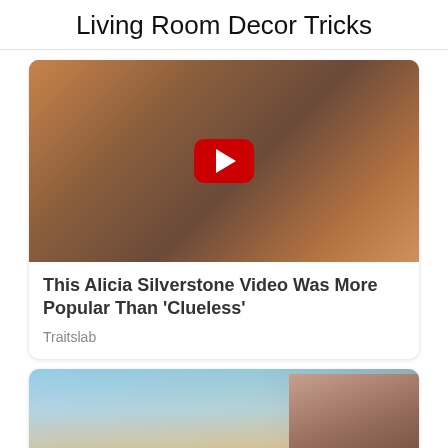Living Room Decor Tricks
[Figure (screenshot): Video thumbnail showing two women in warm-toned scene with a YouTube-style red play button overlay]
This Alicia Silverstone Video Was More Popular Than 'Clueless'
Traitslab
[Figure (photo): Photo of a woman with sunglasses at a beach scene with ocean and people in the background, with a red CLOSE button overlay at the bottom]